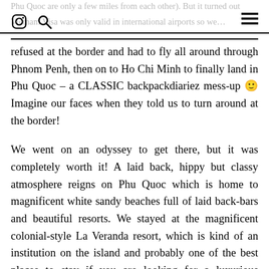Phu Quoc are only a few miles from each other). But it turned out Vietnam Visa was only valid in international airports so we…
refused at the border and had to fly all around through Phnom Penh, then on to Ho Chi Minh to finally land in Phu Quoc – a CLASSIC backpackdiariez mess-up 😊 Imagine our faces when they told us to turn around at the border!
We went on an odyssey to get there, but it was completely worth it! A laid back, hippy but classy atmosphere reigns on Phu Quoc which is home to magnificent white sandy beaches full of laid back-bars and beautiful resorts. We stayed at the magnificent colonial-style La Veranda resort, which is kind of an institution on the island and probably one of the best places to stay if you are looking for a luxurious romantic getaway.
Things to do on the island
Beach time!